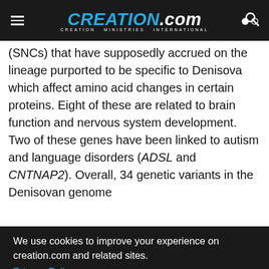CREATION.com — CREATION MINISTRIES INTERNATIONAL
(SNCs) that have supposedly accrued on the lineage purported to be specific to Denisova which affect amino acid changes in certain proteins. Eight of these are related to brain function and nervous system development. Two of these genes have been linked to autism and language disorders (ADSL and CNTNAP2). Overall, 34 genetic variants in the Denisovan genome
in s-van ed with holar ity.
We use cookies to improve your experience on creation.com and related sites. Privacy Policy
Understood
| Gene name | Function | Affected organ/system |
| --- | --- | --- |